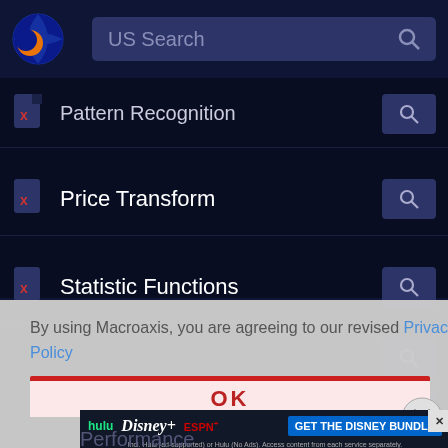[Figure (screenshot): Macroaxis website screenshot showing a navigation header with logo and US Search bar, followed by a list of financial analysis categories (Pattern Recognition, Price Transform, Statistic Functions) with file icons and search buttons, overlaid with a cookie consent notice referencing Privacy Policy, a red-topped OK button area, a close circle button, and a Disney Bundle advertisement banner at the bottom.]
US Search
Pattern Recognition
Price Transform
Statistic Functions
By using Macroaxis, you are agreeing to our revised Privacy Policy
OK
[Figure (screenshot): Disney Bundle advertisement banner showing Hulu, Disney+, ESPN+ logos with text GET THE DISNEY BUNDLE and fine print about Hulu ad-supported or no ads access.]
Performance